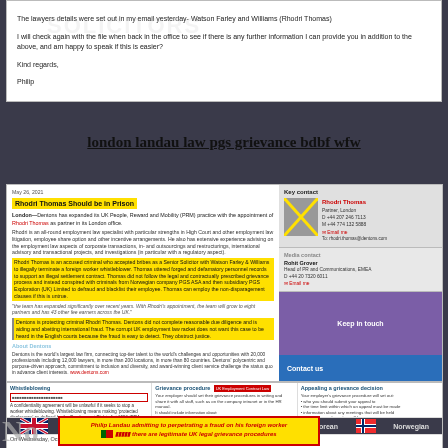The lawyers details were set out in my email yesterday- Watson Farley and Williams (Rhodri Thomas)
I will check again with the file when back in the office to see if there is any further information I can provide you in addition to the above, and am happy to speak if this is easier?
Kind regards,
Philip
london landau law pgs grievance bdbf wfw
[Figure (screenshot): Dentons website article with yellow highlighted accusatory text overlay about Rhodri Thomas, with Key contact sidebar showing Rhodri Thomas details and Media contact Rohit Grover, and Keep in touch / Contact us sections]
[Figure (screenshot): Whistleblowing, Grievance procedure, and Appealing a grievance decision section from UK Employment Contract Law page, with flags language selection row and email excerpt at bottom]
Philip Landau admitting to perpetrating a fraud on his foreign worker - Portugese, French, Japanese, Korean, Norwegian flags shown. Bottom: there are legitimate UK legal grievance procedures